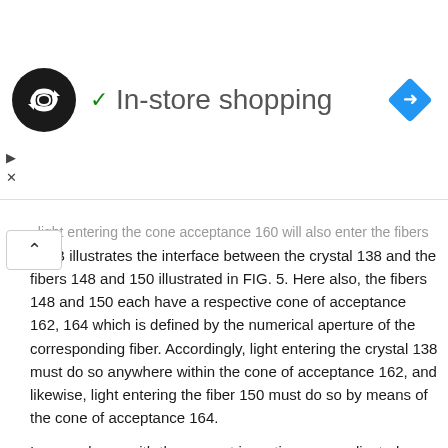[Figure (other): Ad banner with logo (dark circle with infinity-like symbol), checkmark, 'In-store shopping' text, and blue navigation diamond icon. Below are a play triangle icon and an X close icon. A back/up chevron button is also visible.]
. light entering the cone acceptance 160 will also enter the fibers. 6B illustrates the interface between the crystal 138 and the fibers 148 and 150 illustrated in FIG. 5. Here also, the fibers 148 and 150 each have a respective cone of acceptance 162, 164 which is defined by the numerical aperture of the corresponding fiber. Accordingly, light entering the crystal 138 must do so anywhere within the cone of acceptance 162, and likewise, light entering the fiber 150 must do so by means of the cone of acceptance 164.
In accordance with the present invention, a complicated coupling optic is not necessary in order to efficiently couple infrared light into the various MIR elements illustrated. It is not necessary as in the prior art, for example, to provide collimated or reflected light which enters the crystal at a precise angle with respect to the central axis and the input face of the crystal.
FIG. 7 illustrates a simultaneous multiple reactor analysis system employing a plurality of reactors 165(l) . . . 165(n) coupled by fiber optic bundle 166(l) . . . 166(n) to a Fourier Transform infrared spectrometer 167. An IR source 168 and IR detector 169 are appropriately coupled by multiplexing